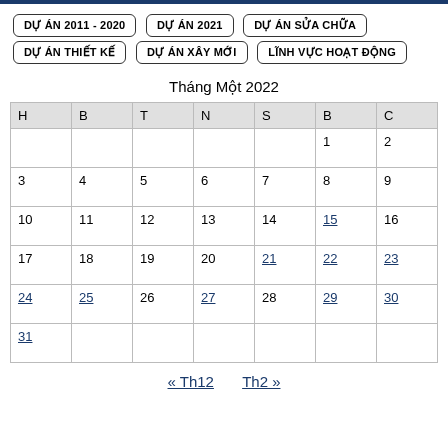DỰ ÁN 2011 - 2020
DỰ ÁN 2021
DỰ ÁN SỬA CHỮA
DỰ ÁN THIẾT KẾ
DỰ ÁN XÂY MỚI
LĨNH VỰC HOẠT ĐỘNG
Tháng Một 2022
| H | B | T | N | S | B | C |
| --- | --- | --- | --- | --- | --- | --- |
|  |  |  |  |  | 1 | 2 |
| 3 | 4 | 5 | 6 | 7 | 8 | 9 |
| 10 | 11 | 12 | 13 | 14 | 15 | 16 |
| 17 | 18 | 19 | 20 | 21 | 22 | 23 |
| 24 | 25 | 26 | 27 | 28 | 29 | 30 |
| 31 |  |  |  |  |  |  |
« Th12   Th2 »